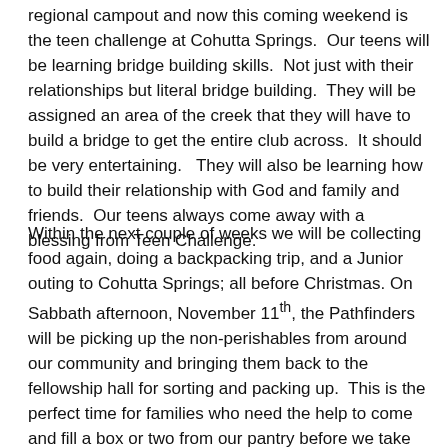regional campout and now this coming weekend is the teen challenge at Cohutta Springs.  Our teens will be learning bridge building skills.  Not just with their relationships but literal bridge building.  They will be assigned an area of the creek that they will have to build a bridge to get the entire club across.  It should be very entertaining.   They will also be learning how to build their relationship with God and family and friends.  Our teens always come away with a blessing from Teen Challenge.
Within the next couple of weeks we will be collecting food again, doing a backpacking trip, and a Junior outing to Cohutta Springs; all before Christmas. On Sabbath afternoon, November 11th, the Pathfinders will be picking up the non-perishables from around our community and bringing them back to the fellowship hall for sorting and packing up.  This is the perfect time for families who need the help to come and fill a box or two from our pantry before we take the remaining food to the Samaritan Center. The best time for them to come by the fellowship hall